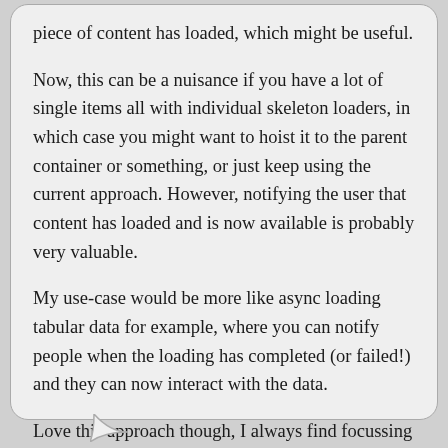piece of content has loaded, which might be useful.
Now, this can be a nuisance if you have a lot of single items all with individual skeleton loaders, in which case you might want to hoist it to the parent container or something, or just keep using the current approach. However, notifying the user that content has loaded and is now available is probably very valuable.
My use-case would be more like async loading tabular data for example, where you can notify people when the loading has completed (or failed!) and they can now interact with the data.
Love this approach though, I always find focussing on a11y makes you write better, semantic HTML anyway, so it's a win-win in my book.